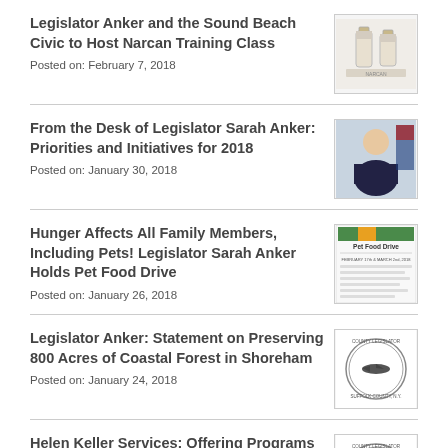Legislator Anker and the Sound Beach Civic to Host Narcan Training Class
Posted on: February 7, 2018
[Figure (photo): Medicine vials photo thumbnail]
From the Desk of Legislator Sarah Anker: Priorities and Initiatives for 2018
Posted on: January 30, 2018
[Figure (photo): Photo of Legislator Sarah Anker]
Hunger Affects All Family Members, Including Pets! Legislator Sarah Anker Holds Pet Food Drive
Posted on: January 26, 2018
[Figure (photo): Pet Food Drive flyer thumbnail]
Legislator Anker: Statement on Preserving 800 Acres of Coastal Forest in Shoreham
Posted on: January 24, 2018
[Figure (logo): County Legislator Suffolk County NY official seal]
Helen Keller Services: Offering Programs Since 1893
Posted on: January 19, 2018
[Figure (logo): County Legislator Suffolk County NY official seal]